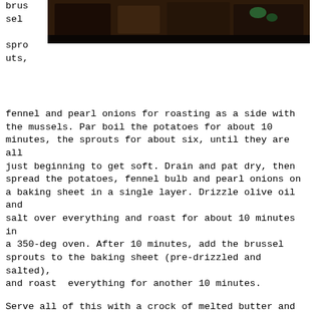[Figure (photo): Dark food photograph showing what appears to be mussels or shellfish dish on a dark background]
brus sel spro uts, fennel and pearl onions for roasting as a side with the mussels. Par boil the potatoes for about 10 minutes, the sprouts for about six, until they are all just beginning to get soft. Drain and pat dry, then spread the potatoes, fennel bulb and pearl onions on a baking sheet in a single layer. Drizzle olive oil and salt over everything and roast for about 10 minutes in a 350-deg oven. After 10 minutes, add the brussel sprouts to the baking sheet (pre-drizzled and salted), and roast  everything for another 10 minutes.
Serve all of this with a crock of melted butter and lemon wedges (or, just add a splash of lemon juice to the butter), a hunk of crusty bread, an empty bowl for the shells, a glass of wine, and extra napkins. I realize